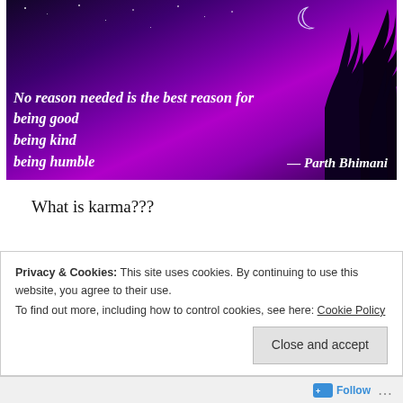[Figure (photo): A purple and magenta night-sky background with stars, a crescent moon, and dark tree silhouettes on the right. Overlaid white bold italic text reads: 'No reason needed is the best reason for being good being kind being humble — Parth Bhimani']
What is karma???
Karma is result of result, whatever you are doing either it is good or it is bad.
Privacy & Cookies: This site uses cookies. By continuing to use this website, you agree to their use.
To find out more, including how to control cookies, see here: Cookie Policy
Close and accept
Follow